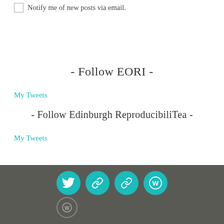Notify me of new posts via email.
- Follow EORI -
My Tweets
- Follow Edinburgh ReproducibiliTea -
My Tweets
[Figure (illustration): Footer with four teal circular social icons (Twitter, link, link, WordPress) and one smaller WordPress circle icon below, on a dark gray background.]